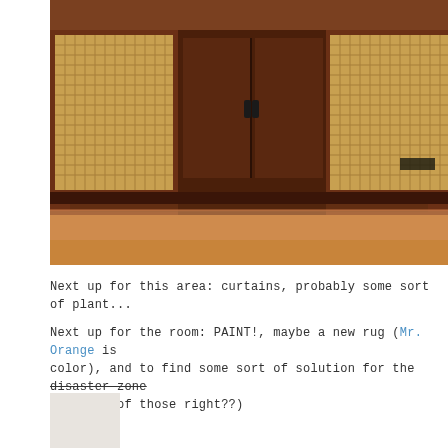[Figure (photo): Mid-century modern stereo console/credenza with dark walnut wood finish and woven rattan/cane speaker panels on each side, center cabinet doors with dark handles, sitting on a hardwood floor]
Next up for this area: curtains, probably some sort of plant...
Next up for the room: PAINT!, maybe a new rug (Mr. Orange is color), and to find some sort of solution for the disaster zone have one of those right??)
[Figure (photo): Partial thumbnail image, light beige/cream colored]